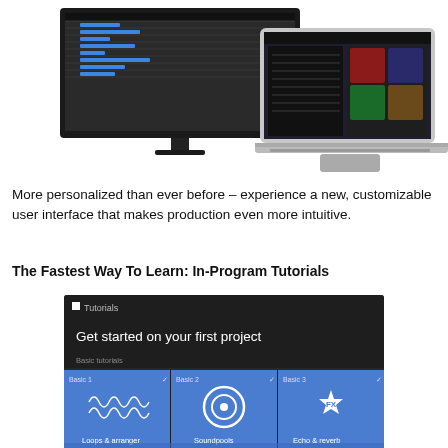[Figure (screenshot): Screenshot showing a desktop monitor with music production software (dark interface with piano roll/arranger) alongside a laptop displaying a DJ/media library interface]
More personalized than ever before – experience a new, customizable user interface that makes production even more intuitive.
The Fastest Way To Learn: In-Program Tutorials
[Figure (screenshot): Screenshot of an in-program Tutorials panel with dark background showing 'Get started on your first project' heading, 'Basic tutorials' section label, and three blue tutorial cards: Basic 1 (Loops & arranger), Basic 2 (Soundpools), Basic 3 (Echo & reverb), each with a checkmark in the top-right corner and an icon.]